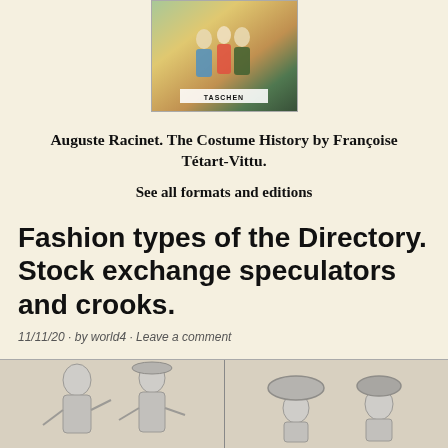[Figure (illustration): Book cover of Auguste Racinet costume history book showing historical figures in period dress, with TASCHEN publisher logo]
Auguste Racinet. The Costume History by Françoise Tétart-Vittu.
See all formats and editions
Fashion types of the Directory. Stock exchange speculators and crooks.
11/11/20 · by world4 · Leave a comment
[Figure (illustration): Two panel illustration showing historical fashion figures from the Directory period - left panel shows two figures, right panel shows two figures with elaborate hats]